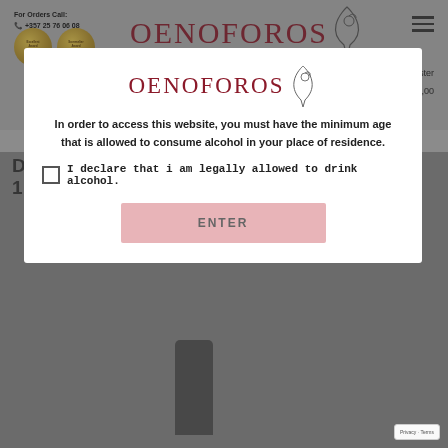For Orders Call: +357 25 76 06 08
[Figure (logo): OENOFOROS wine brand logo with hand holding wine glass, shown in background header]
[Figure (logo): Two gold medal award seals]
Sign in / Register
0 item(s)  €0,00
[Figure (logo): OENOFOROS logo in modal dialog]
In order to access this website, you must have the minimum age that is allowed to consume alcohol in your place of residence.
I declare that i am legally allowed to drink alcohol.
ENTER